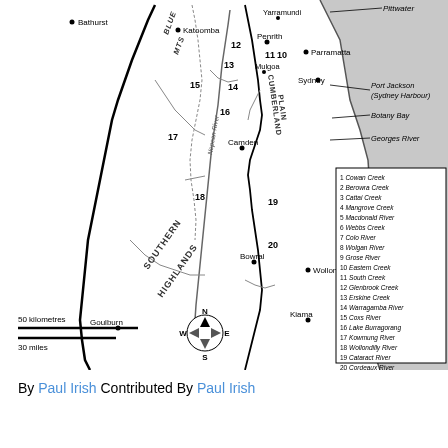[Figure (map): Map of the Sydney basin and surrounding regions in New South Wales, Australia, showing rivers, creeks, and geographical features numbered 1-20. Includes Blue Mountains, Cumberland Plain, Southern Highlands, and coastal region. Cities/towns labeled: Bathurst, Katoomba, Penrith, Yarramundi, Parramatta, Sydney, Mulgoa, Camden, Bowral, Goulburn, Wollongong, Kiama. Water bodies labeled: Pittwater, Port Jackson (Sydney Harbour), Botany Bay, Georges River. A legend lists 20 waterways numbered 1-20. Scale bar shows 50 kilometres / 30 miles. Compass rose shown with N/S/E/W.]
By Paul Irish Contributed By Paul Irish